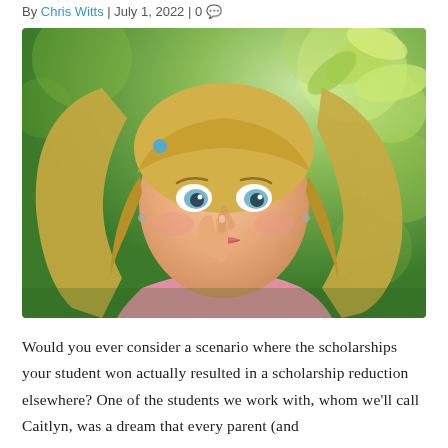By Chris Witts | July 1, 2022 | 0
[Figure (photo): A young blonde girl with pigtails holding her finger to her lips in a shushing gesture, outdoors with green bokeh background]
Would you ever consider a scenario where the scholarships your student won actually resulted in a scholarship reduction elsewhere? One of the students we work with, whom we'll call Caitlyn, was a dream that every parent (and